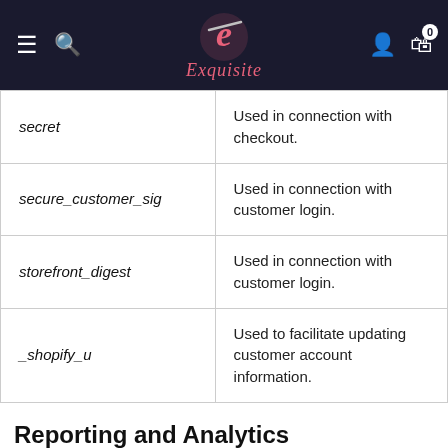Exquisite — navigation header
| Name | Function |
| --- | --- |
| secret | Used in connection with checkout. |
| secure_customer_sig | Used in connection with customer login. |
| storefront_digest | Used in connection with customer login. |
| _shopify_u | Used to facilitate updating customer account information. |
Reporting and Analytics
| Name | Function |
| --- | --- |